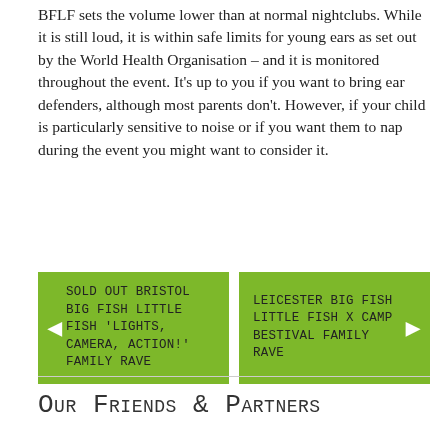BFLF sets the volume lower than at normal nightclubs. While it is still loud, it is within safe limits for young ears as set out by the World Health Organisation – and it is monitored throughout the event. It's up to you if you want to bring ear defenders, although most parents don't. However, if your child is particularly sensitive to noise or if you want them to nap during the event you might want to consider it.
◄ SOLD OUT BRISTOL Big Fish Little Fish 'Lights, Camera, Action!' family rave
LEICESTER Big Fish Little Fish X Camp Bestival Family Rave ►
Our Friends & Partners